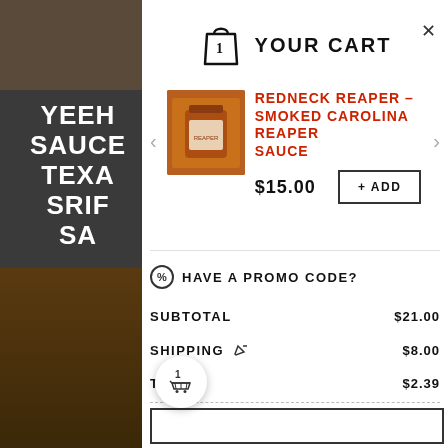[Figure (screenshot): Left background with partially visible product text: YEEH[AW] SAUCE TEXAS SRI[RACHA] SA[UCE] and partial price $1[5.00] with ADD button, bottles in background]
YOUR CART
REDNECK REAPER – SMOKED CAROLINA REAPER SAUCE
$15.00
+ ADD
HAVE A PROMO CODE?
| Label | Amount |
| --- | --- |
| SUBTOTAL | $21.00 |
| SHIPPING | $8.00 |
| TAX | $2.39 |
| TOTAL | $31.39 USD |